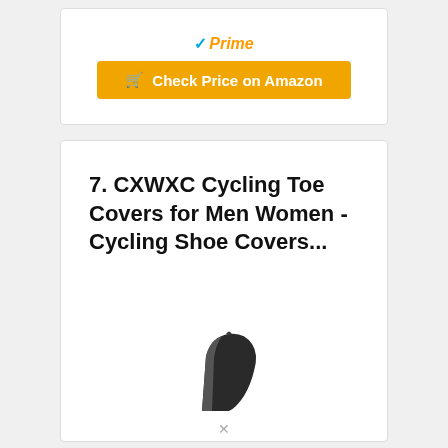[Figure (other): Amazon Prime badge with checkmark and italic Prime text in orange, above an orange 'Check Price on Amazon' button with cart icon]
7. CXWXC Cycling Toe Covers for Men Women - Cycling Shoe Covers...
[Figure (photo): Partial image of a black cycling toe cover / shoe cover product, shown from an angle, cropped at the bottom of the card]